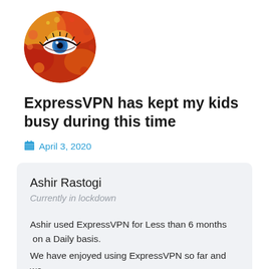[Figure (photo): Circular avatar image showing a colorful artistic eye with red, orange, and yellow abstract paint splatter around it, with a blue iris.]
ExpressVPN has kept my kids busy during this time
April 3, 2020
Ashir Rastogi
Currently in lockdown
Ashir used ExpressVPN for Less than 6 months on a Daily basis.
We have enjoyed using ExpressVPN so far and we recommend it for anyone who wants to gain access